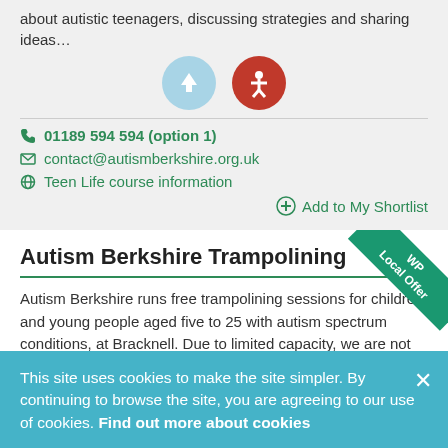about autistic teenagers, discussing strategies and sharing ideas…
01189 594 594 (option 1)
contact@autismberkshire.org.uk
Teen Life course information
Add to My Shortlist
Autism Berkshire Trampolining
WP Local Offer
Autism Berkshire runs free trampolining sessions for children and young people aged five to 25 with autism spectrum conditions, at Bracknell. Due to limited capacity, we are not currently accepting further
This site uses cookies to make the site simpler. By continuing to browse the site, you are agreeing to our use of cookies. Find out more about cookies